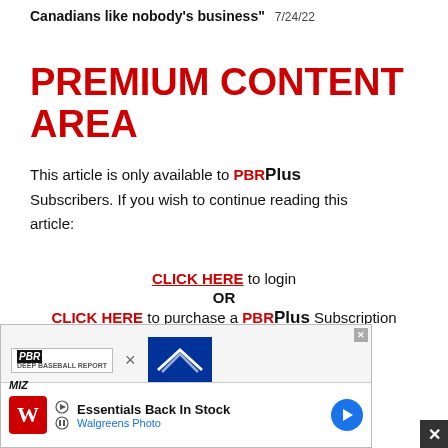Canadians like nobody's business" 7/24/22
PREMIUM CONTENT AREA
This article is only available to PBRPlus Subscribers. If you wish to continue reading this article:
CLICK HERE to login
OR
CLICK HERE to purchase a PBRPlus Subscription
[Figure (screenshot): Advertisement banner showing PBR x Mizuno logos and a Walgreens Photo ad with essentials back in stock]